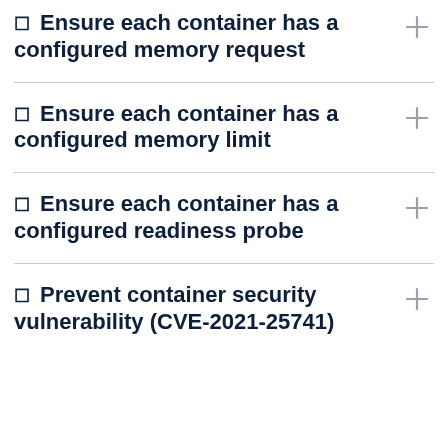Ensure each container has a configured memory request
Ensure each container has a configured memory limit
Ensure each container has a configured readiness probe
Prevent container security vulnerability (CVE-2021-25741)